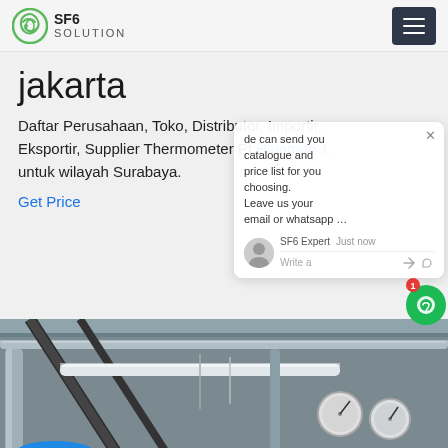SF6 SOLUTION
jakarta
Daftar Perusahaan, Toko, Distributor, Importir, Eksportir, Supplier Thermometer Pt Halaman 1. untuk wilayah Surabaya.
Get Price
[Figure (screenshot): Chat popup widget showing a bot message about catalogue and price list, with SF6 Expert agent info and a write message input area]
[Figure (photo): Industrial interior showing pipes, cables, pressure gauges and equipment mounted on ceiling/wall structure]